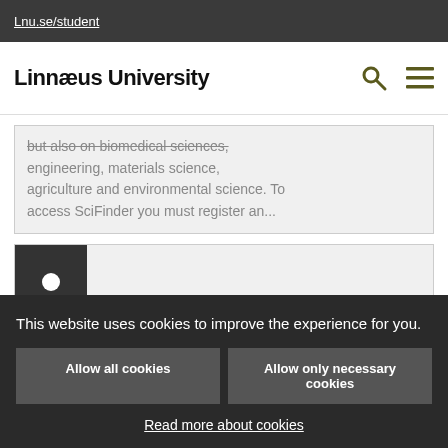Lnu.se/student
Linnæus University
but also on biomedical sciences, engineering, materials science, agriculture and environmental science. To access SciFinder you must register an...
[Figure (other): User/person icon in a dark square box on a light grey card]
This website uses cookies to improve the experience for you.
Allow all cookies
Allow only necessary cookies
Read more about cookies